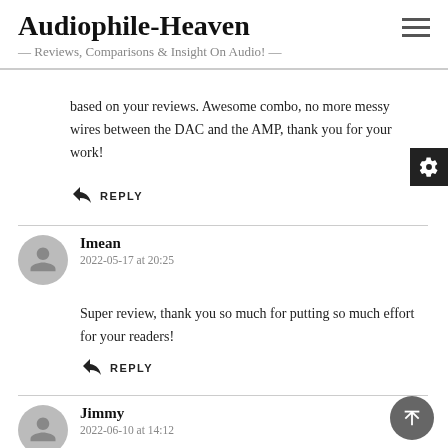Audiophile-Heaven — Reviews, Comparisons & Insight On Audio! —
based on your reviews. Awesome combo, no more messy wires between the DAC and the AMP, thank you for your work!
REPLY
Imean
2022-05-17 at 20:25
Super review, thank you so much for putting so much effort for your readers!
REPLY
Jimmy
2022-06-10 at 14:12